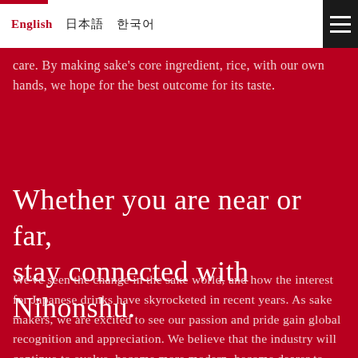English　日本語　한국어
care. By making sake's core ingredient, rice, with our own hands, we hope for the best outcome for its taste.
Whether you are near or far, stay connected with Nihonshu.
We've seen the change in the sake world, and how the interest for Japanese drinks have skyrocketed in recent years. As sake makers, we are excited to see our passion and pride gain global recognition and appreciation. We believe that the industry will continue to evolve, become more modern, become dearer to heart, over time. Our hope is that our sake can be tasted and shared no matter where you are in the world. We want to reach out to all and any